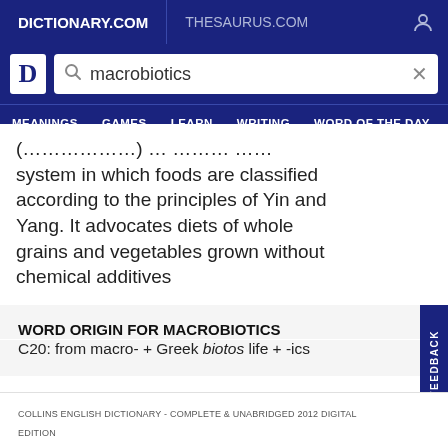DICTIONARY.COM | THESAURUS.COM
(continuing) system in which foods are classified according to the principles of Yin and Yang. It advocates diets of whole grains and vegetables grown without chemical additives
WORD ORIGIN FOR MACROBIOTICS
C20: from macro- + Greek biotos life + -ics
COLLINS ENGLISH DICTIONARY - COMPLETE & UNABRIDGED 2012 DIGITAL EDITION